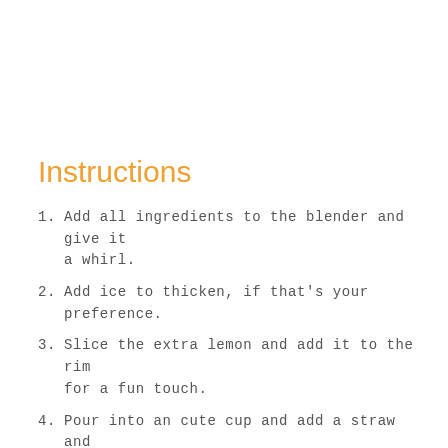Instructions
Add all ingredients to the blender and give it a whirl.
Add ice to thicken, if that's your preference.
Slice the extra lemon and add it to the rim for a fun touch.
Pour into an cute cup and add a straw and enjoy!